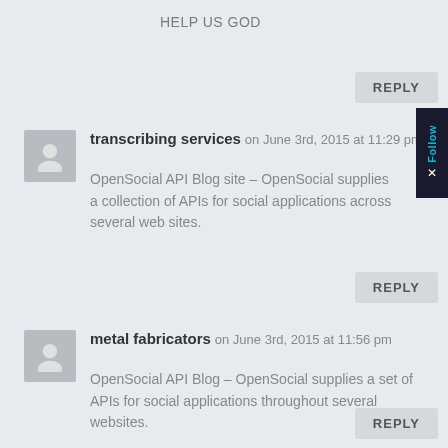HELP US GOD
REPLY
transcribing services on June 3rd, 2015 at 11:29 pm
OpenSocial API Blog site – OpenSocial supplies a collection of APIs for social applications across several web sites.
REPLY
metal fabricators on June 3rd, 2015 at 11:56 pm
OpenSocial API Blog – OpenSocial supplies a set of APIs for social applications throughout several websites.
REPLY